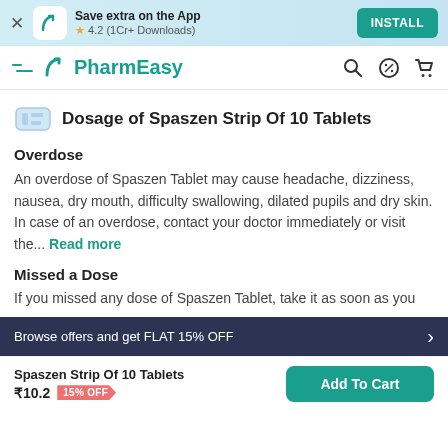Save extra on the App
★ 4.2 (1Cr+ Downloads)
INSTALL
PharmEasy
Dosage of Spaszen Strip Of 10 Tablets
Overdose
An overdose of Spaszen Tablet may cause headache, dizziness, nausea, dry mouth, difficulty swallowing, dilated pupils and dry skin. In case of an overdose, contact your doctor immediately or visit the... Read more
Missed a Dose
If you missed any dose of Spaszen Tablet, take it as soon as you
Browse offers and get FLAT 15% OFF
Spaszen Strip Of 10 Tablets
₹10.2  15% OFF
Add To Cart